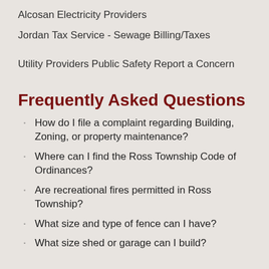Alcosan
Electricity Providers
Jordan Tax Service - Sewage Billing/Taxes
Utility Providers
Public Safety
Report a Concern
Frequently Asked Questions
How do I file a complaint regarding Building, Zoning, or property maintenance?
Where can I find the Ross Township Code of Ordinances?
Are recreational fires permitted in Ross Township?
What size and type of fence can I have?
What size shed or garage can I build?